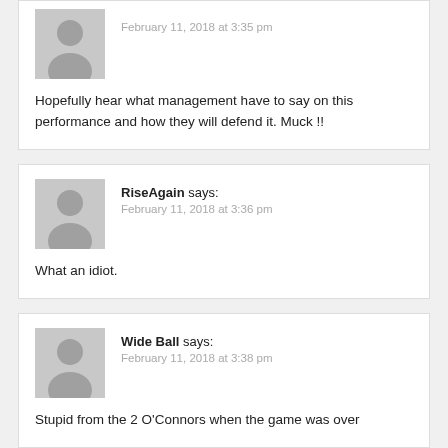[Figure (other): User avatar placeholder (grey silhouette) for first comment]
February 11, 2018 at 3:35 pm
Hopefully hear what management have to say on this performance and how they will defend it. Muck !!
[Figure (other): User avatar placeholder (grey silhouette) for RiseAgain comment]
RiseAgain says: February 11, 2018 at 3:36 pm
What an idiot.
[Figure (other): User avatar placeholder (grey silhouette) for Wide Ball comment]
Wide Ball says: February 11, 2018 at 3:38 pm
Stupid from the 2 O'Connors when the game was over